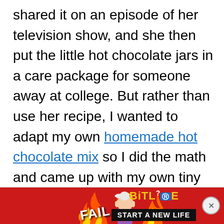shared it on an episode of her television show, and she then put the little hot chocolate jars in a care package for someone away at college. But rather than use her recipe, I wanted to adapt my own homemade hot chocolate mix so I did the math and came up with my own tiny version.
[Figure (other): Advertisement banner for BitLife mobile game featuring fire animation, cartoon character, FAIL text, BitLife logo and 'START A NEW LIFE' text with a close button.]